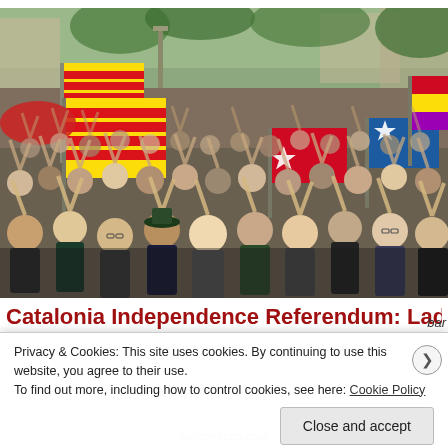[Figure (photo): Large crowd of people at a Catalan independence rally, many with hands raised, Catalan flags (yellow and red striped Senyera and blue Estelada with white star) visible above the crowd, outdoor urban setting with trees in background.]
Catalonia Independence Referendum: Lada Ray's Mu
Privacy & Cookies: This site uses cookies. By continuing to use this website, you agree to their use.
To find out more, including how to control cookies, see here: Cookie Policy
Close and accept